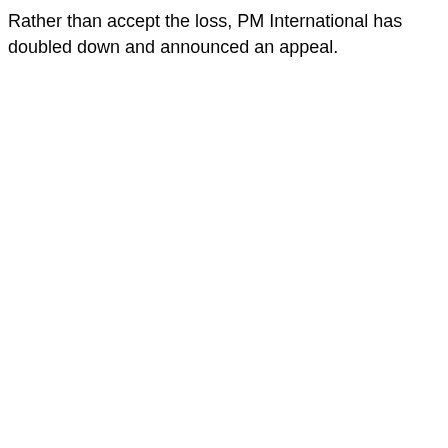Rather than accept the loss, PM International has doubled down and announced an appeal.